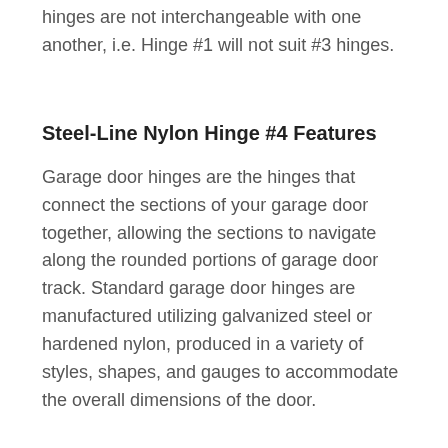hinges are not interchangeable with one another, i.e. Hinge #1 will not suit #3 hinges.
Steel-Line Nylon Hinge #4 Features
Garage door hinges are the hinges that connect the sections of your garage door together, allowing the sections to navigate along the rounded portions of garage door track. Standard garage door hinges are manufactured utilizing galvanized steel or hardened nylon, produced in a variety of styles, shapes, and gauges to accommodate the overall dimensions of the door.
Most of the time all, of the hinges in the centre of the door are #1 hinges.  The hinges on the edge